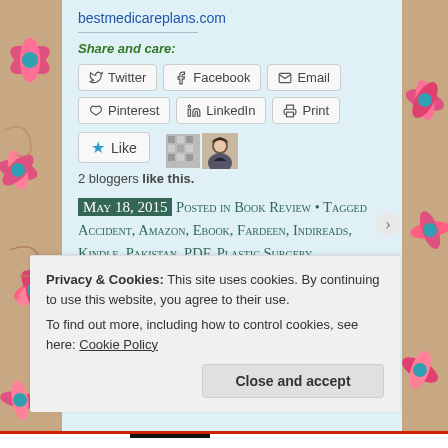bestmedicareplans.com
Share and care:
[Figure (other): Social share buttons: Twitter, Facebook, Email, Pinterest, LinkedIn, Print]
[Figure (other): Like button with star icon and 2 blogger avatars. Text: 2 bloggers like this.]
2 bloggers like this.
May 18, 2015 Posted in Book Review • Tagged Accident, Amazon, Ebook, Fardeen, Indireads, Kindle, Pakistan, PDF, Plastic Surgery,
Privacy & Cookies: This site uses cookies. By continuing to use this website, you agree to their use.
To find out more, including how to control cookies, see here: Cookie Policy
Close and accept